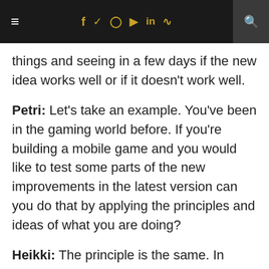≡  f  y  ○  ▶  in  )))  🔍
things and seeing in a few days if the new idea works well or if it doesn't work well.
Petri: Let's take an example. You've been in the gaming world before. If you're building a mobile game and you would like to test some parts of the new improvements in the latest version can you do that by applying the principles and ideas of what you are doing?
Heikki: The principle is the same. In game development it's the same as